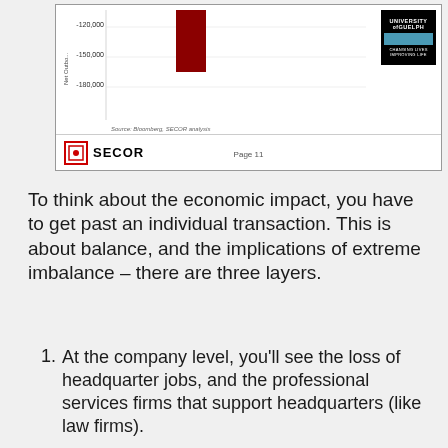[Figure (other): Bottom portion of a bar chart slide showing negative values around -120,000 to -180,000 on y-axis (Net Outbound), with a dark red bar visible. Slide footer shows SECOR logo, Page 11, and University of Guelph logo. Source: Bloomberg, SECOR analysis.]
To think about the economic impact, you have to get past an individual transaction. This is about balance, and the implications of extreme imbalance – there are three layers.
At the company level, you'll see the loss of headquarter jobs, and the professional services firms that support headquarters (like law firms).
At the industry level, you'll see a loss of consolidators and a weakening of industry clusters.